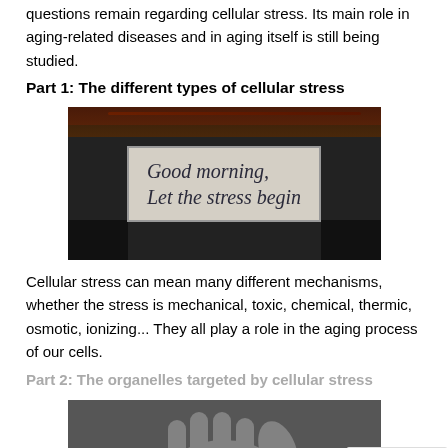questions remain regarding cellular stress. Its main role in aging-related diseases and in aging itself is still being studied.
Part 1: The different types of cellular stress
[Figure (photo): A weathered sign reading 'Good morning, Let the stress begin' with dark background and wires visible at top]
Cellular stress can mean many different mechanisms, whether the stress is mechanical, toxic, chemical, thermic, osmotic, ionizing... They all play a role in the aging process of our cells.
Part 2: The organelles targeted by cellular stress
[Figure (photo): Black and white photo of a clenched fist / hand]
[Figure (other): reCAPTCHA badge with Privacy and Terms text]